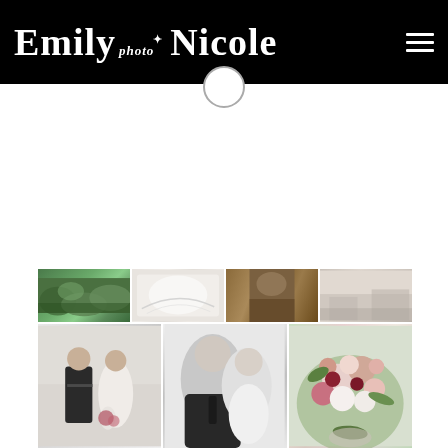[Figure (logo): Emily Nicole Photo logo in white text on black header bar with hamburger menu icon on the right]
[Figure (photo): Grid of wedding photography thumbnails: top row shows green foliage, white fabric/dress detail, brown outdoor scene, and bright interior; bottom row shows couple portrait in color, couple close-up in black and white, and colorful floral arrangement]